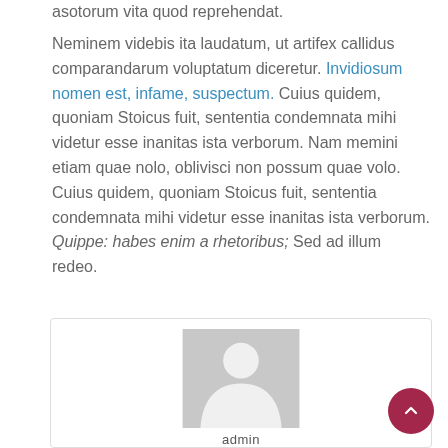asotorum vita quod reprehendat.
Neminem videbis ita laudatum, ut artifex callidus comparandarum voluptatum diceretur. Invidiosum nomen est, infame, suspectum. Cuius quidem, quoniam Stoicus fuit, sententia condemnata mihi videtur esse inanitas ista verborum. Nam memini etiam quae nolo, oblivisci non possum quae volo. Cuius quidem, quoniam Stoicus fuit, sententia condemnata mihi videtur esse inanitas ista verborum. Quippe: habes enim a rhetoribus; Sed ad illum redeo.
[Figure (illustration): User avatar placeholder image showing a grey silhouette of a person on a grey background, inside a card with border. Below the avatar is partially visible text 'admin'.]